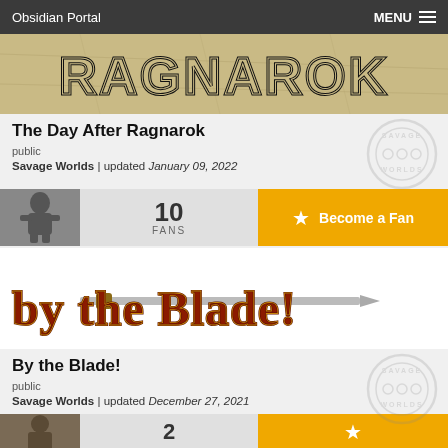Obsidian Portal   MENU
[Figure (illustration): Ragnarok banner image with stylized blocky text on a map background]
The Day After Ragnarok
public
Savage Worlds | updated January 09, 2022
[Figure (illustration): Savage Worlds circular logo watermark]
10 FANS
Become a Fan
[Figure (illustration): By the Blade! banner with stylized metallic orange/red text and sword]
By the Blade!
public
Savage Worlds | updated December 27, 2021